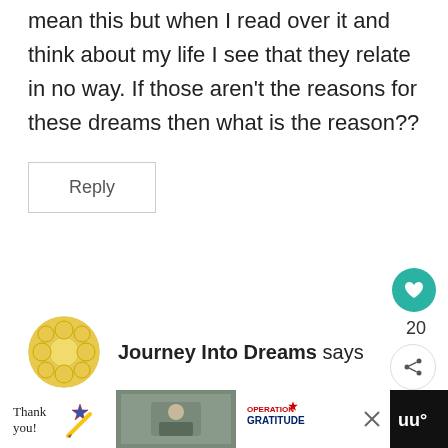mean this but when I read over it and think about my life I see that they relate in no way. If those aren't the reasons for these dreams then what is the reason??
Reply
[Figure (infographic): Teal circular like/heart button with heart icon, count of 20 below, and share button]
20
Journey Into Dreams says
[Figure (infographic): Advertisement bar at bottom: Thank you with flag graphic, military photo, Operation Gratitude logo, and close button. Site logo on far right.]